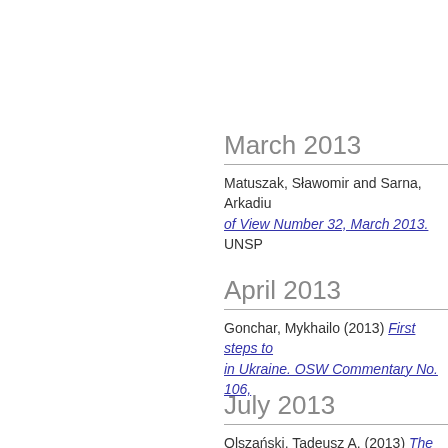March 2013
Matuszak, Sławomir and Sarna, Arkadiusz of View Number 32, March 2013. UNSP
April 2013
Gonchar, Mykhailo (2013) First steps to in Ukraine. OSW Commentary No. 106,
July 2013
Olszański, Tadeusz A. (2013) The West OSW Study 43/2013. UNSPECIFIED.